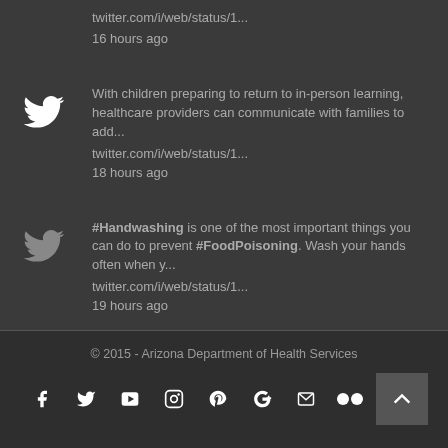twitter.com/i/web/status/1...
16 hours ago
[Figure (illustration): Twitter bird icon]
With children preparing to return to in-person learning, healthcare providers can communicate with families to add...
twitter.com/i/web/status/1...
18 hours ago
[Figure (illustration): Twitter bird icon]
#Handwashing is one of the most important things you can do to prevent #FoodPoisoning. Wash your hands often when y...
twitter.com/i/web/status/1...
19 hours ago
© 2015 - Arizona Department of Health Services
[Figure (infographic): Social media icons row: Facebook, Twitter, YouTube, Instagram, Pinterest, Google+, Email, Flickr, and a scroll-to-top button]